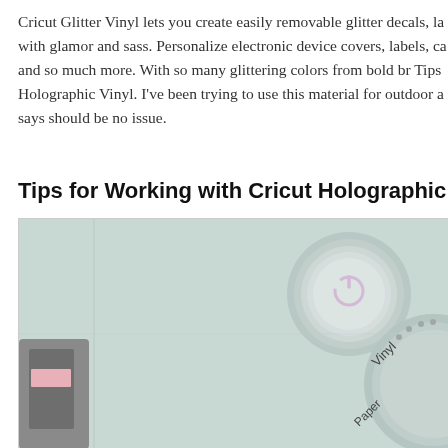Cricut Glitter Vinyl lets you create easily removable glitter decals, la with glamor and sass. Personalize electronic device covers, labels, ca and so much more. With so many glittering colors from bold br Tips Holographic Vinyl. I've been trying to use this material for outdoor a says should be no issue.
Tips for Working with Cricut Holographic Vinyl
[Figure (photo): Close-up photo of a Cricut cutting machine showing the power button (circular with a glowing power icon) and a material dial with labels including 'Vinyl' and 'Paper'.]